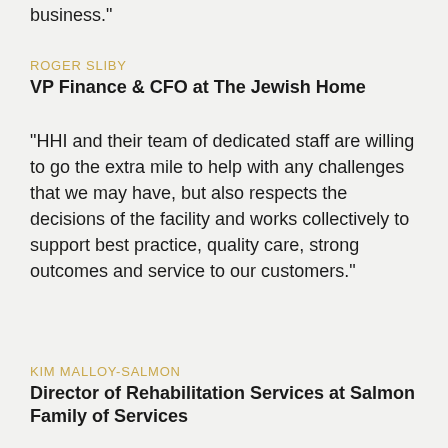business."
ROGER SLIBY
VP Finance & CFO at The Jewish Home
"HHI and their team of dedicated staff are willing to go the extra mile to help with any challenges that we may have, but also respects the decisions of the facility and works collectively to support best practice, quality care, strong outcomes and service to our customers."
KIM MALLOY-SALMON
Director of Rehabilitation Services at Salmon Family of Services